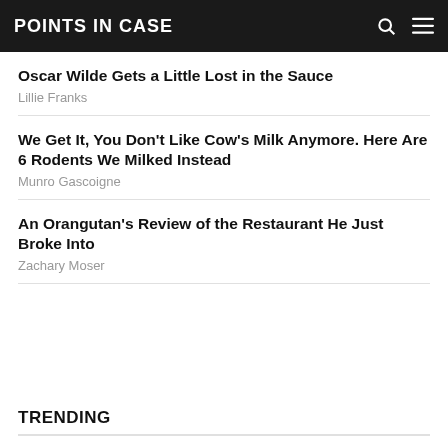POINTS IN CASE
Oscar Wilde Gets a Little Lost in the Sauce
Lillie Franks
We Get It, You Don't Like Cow's Milk Anymore. Here Are 6 Rodents We Milked Instead
Munro Gascoigne
An Orangutan's Review of the Restaurant He Just Broke Into
Zachary Moser
TRENDING